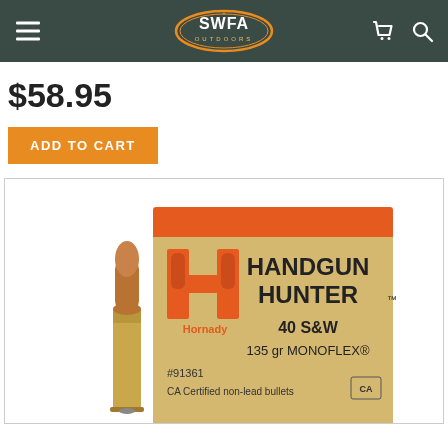SWFA Outdoors
$58.95
ADD TO CART
[Figure (photo): Product photo of Hornady Handgun Hunter ammunition box — 40 S&W, 135 gr MONOFLEX, #91361, CA Certified non-lead bullets — with a single brass bullet cartridge leaning against the box]